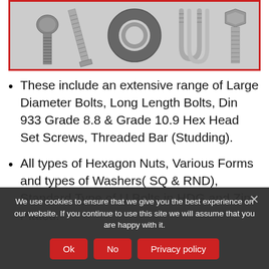[Figure (photo): Photo of various fasteners and hardware: a carriage bolt, a large washer/ring, U-bolts, and a hex head bolt, displayed against a white background inside a red border frame.]
These include an extensive range of Large Diameter Bolts, Long Length Bolts, Din 933 Grade 8.8 & Grade 10.9 Hex Head Set Screws, Threaded Bar (Studding).
All types of Hexagon Nuts, Various Forms and types of Washers( SQ & RND), Standard Type of U Bolts in HDG and Zinc Plated.
We use cookies to ensure that we give you the best experience on our website. If you continue to use this site we will assume that you are happy with it.